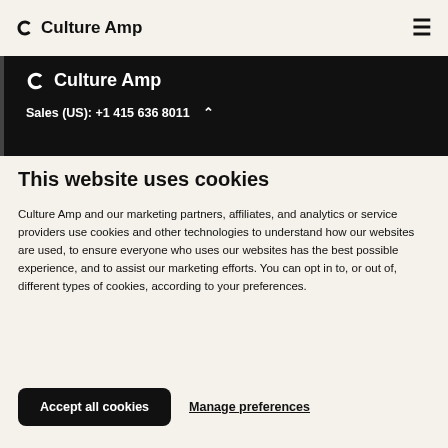Culture Amp
Culture Amp — Sales (US): +1 415 636 8011
This website uses cookies
Culture Amp and our marketing partners, affiliates, and analytics or service providers use cookies and other technologies to understand how our websites are used, to ensure everyone who uses our websites has the best possible experience, and to assist our marketing efforts. You can opt in to, or out of, different types of cookies, according to your preferences.
Accept all cookies
Manage preferences